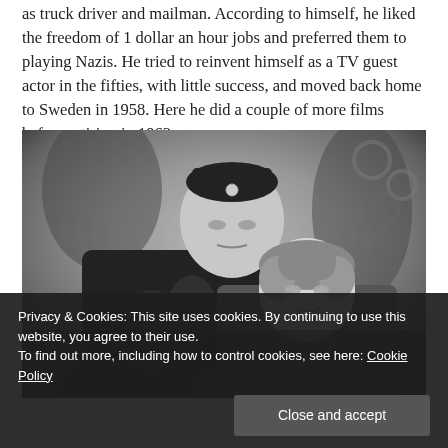as truck driver and mailman. According to himself, he liked the freedom of 1 dollar an hour jobs and preferred them to playing Nazis. He tried to reinvent himself as a TV guest actor in the fifties, with little success, and moved back home to Sweden in 1958. Here he did a couple of more films before retiring in 1963.
[Figure (photo): Black and white photograph of two people — a man wearing an ornate Asian-style robe and cap, leaning over a woman with curly hair.]
Privacy & Cookies: This site uses cookies. By continuing to use this website, you agree to their use. To find out more, including how to control cookies, see here: Cookie Policy